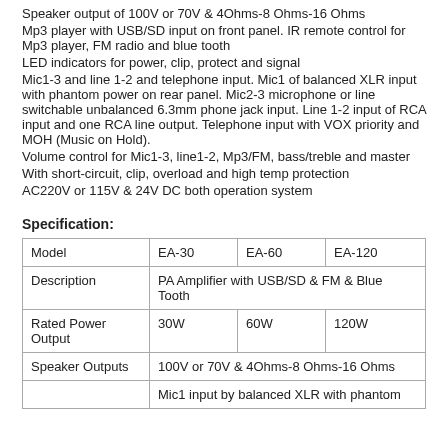Speaker output of 100V or 70V & 4Ohms-8 Ohms-16 Ohms
Mp3 player with USB/SD input on front panel. IR remote control for Mp3 player, FM radio and blue tooth
LED indicators for power, clip, protect and signal
Mic1-3 and line 1-2 and telephone input. Mic1 of balanced XLR input with phantom power on rear panel. Mic2-3 microphone or line switchable unbalanced 6.3mm phone jack input. Line 1-2 input of RCA input and one RCA line output. Telephone input with VOX priority and MOH (Music on Hold).
Volume control for Mic1-3, line1-2, Mp3/FM, bass/treble and master
With short-circuit, clip, overload and high temp protection
AC220V or 115V & 24V DC both operation system
Specification:
| Model | EA-30 | EA-60 | EA-120 |
| --- | --- | --- | --- |
| Description | PA Amplifier with USB/SD & FM & Blue Tooth |  |  |
| Rated Power Output | 30W | 60W | 120W |
| Speaker Outputs | 100V or 70V & 4Ohms-8 Ohms-16 Ohms |  |  |
|  | Mic1 input by balanced XLR with phantom |  |  |